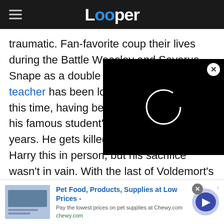Looper
traumatic. Fan-favorite coup... their lives during the Battle... Weasley and Severus Snape... as a double agent. Turns ou... teacher has been looking out for him all this time, having been deeply in love with his famous student's late mother for years. He gets killed before he can tell Harry this in person, but his sacrifice wasn't in vain. With the last of Voldemort's Horcruxes destroyed, Harry Potter finally takes his nemesis o...
[Figure (screenshot): Video player overlay with black background and loading spinner circle]
[Figure (screenshot): Advertisement banner for Chewy.com pet supplies with blue play button]